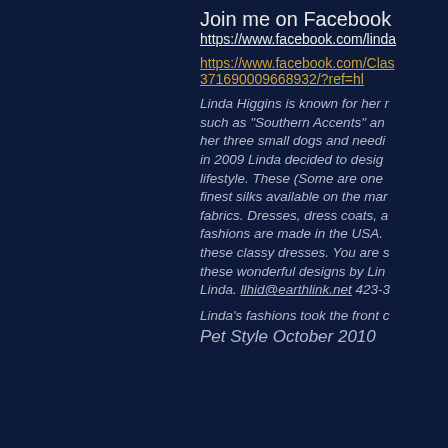Join me on Facebook
https://www.facebook.com/linda
https://www.facebook.com/Clas371690009668932/?ref=hl
Linda Higgins is known for her r such as "Southern Accents" an her three small dogs and needi in 2009 Linda decided to desig lifestyle. These (Some are one finest silks available on the mar fabrics. Dresses, dress coats, a fashions are made in the USA. these classy dresses. You are s these wonderful designs by Lin Linda. llhid@earthlink.net 423-3
Linda's fashions took the front c
Pet Style October 2010